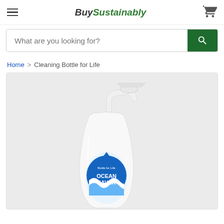BuySustainably
What are you looking for?
Home > Cleaning Bottle for Life
[Figure (photo): Clear plastic spray bottle with white trigger pump and Ocean Saver label showing blue wave design on white background]